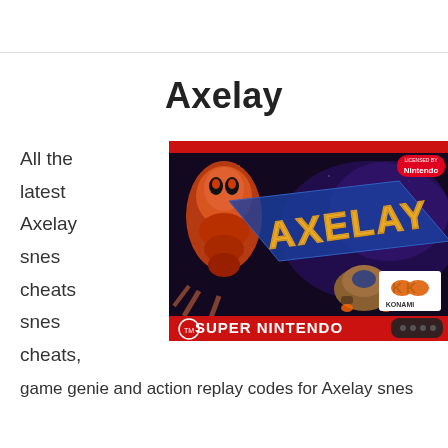Axelay
All the latest Axelay snes cheats snes cheats,
[Figure (photo): Axelay Super Nintendo (SNES) game box art cover. Shows the Axelay logo in large gold letters, alien creatures, a spaceship, Konami logo, and Super Nintendo Entertainment System branding at the bottom. Licensed by Nintendo badge in top right.]
game genie and action replay codes for Axelay snes